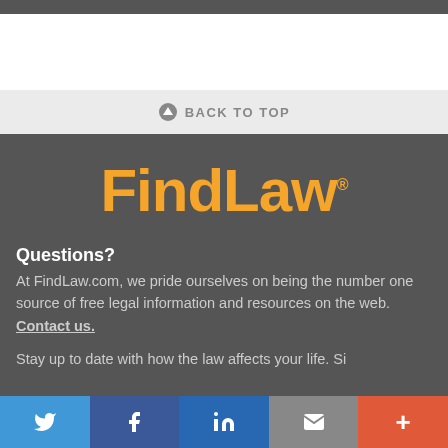[Figure (logo): FindLaw logo in orange text on dark gray background]
BACK TO TOP
Questions?
At FindLaw.com, we pride ourselves on being the number one source of free legal information and resources on the web. Contact us.
Stay up to date with how the law affects your life. Si...
Twitter | Facebook | LinkedIn | Email | More